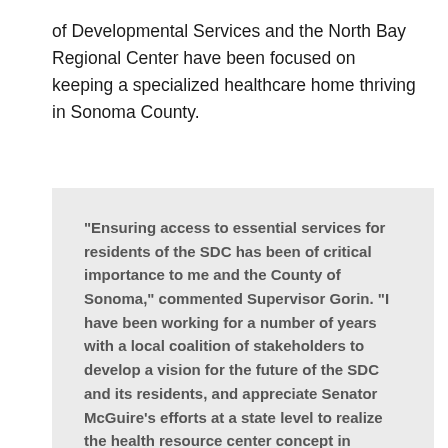of Developmental Services and the North Bay Regional Center have been focused on keeping a specialized healthcare home thriving in Sonoma County.
“Ensuring access to essential services for residents of the SDC has been of critical importance to me and the County of Sonoma,” commented Supervisor Gorin. “I have been working for a number of years with a local coalition of stakeholders to develop a vision for the future of the SDC and its residents, and appreciate Senator McGuire’s efforts at a state level to realize the health resource center concept in Sonoma County. The Coalition had hoped to site the health center at the Sonoma Developmental Center. Although we are disappointed that model is not feasible, we are pleased that specialized services will be available to North Bay clients in the near